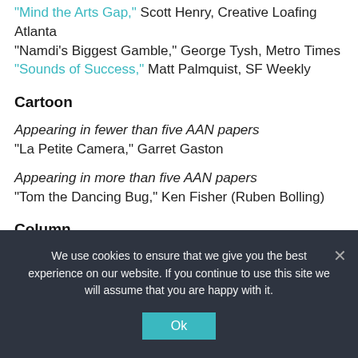“Mind the Arts Gap,” Scott Henry, Creative Loafing Atlanta
“Namdi’s Biggest Gamble,” George Tysh, Metro Times
“Sounds of Success,” Matt Palmquist, SF Weekly
Cartoon
Appearing in fewer than five AAN papers
“La Petite Camera,” Garret Gaston
Appearing in more than five AAN papers
“Tom the Dancing Bug,” Ken Fisher (Ruben Bolling)
Column
We use cookies to ensure that we give you the best experience on our website. If you continue to use this site we will assume that you are happy with it.